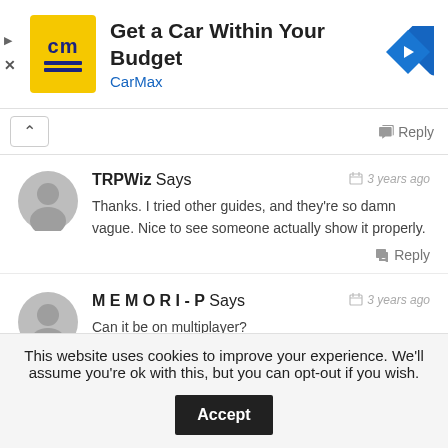[Figure (screenshot): CarMax advertisement banner with yellow logo, text 'Get a Car Within Your Budget', 'CarMax' in blue, and a blue navigation arrow icon]
Reply
TRPWiz Says
3 years ago
Thanks.  I tried other guides, and they're so damn vague. Nice to see someone actually show it properly.
Reply
M E M O R I - P Says
3 years ago
Can it be on multiplayer?
Reply
This website uses cookies to improve your experience. We'll assume you're ok with this, but you can opt-out if you wish.
Accept